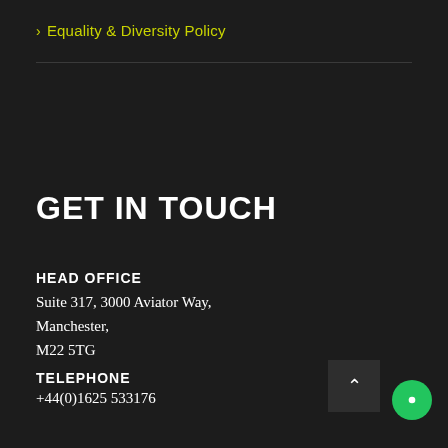> Equality & Diversity Policy
GET IN TOUCH
HEAD OFFICE
Suite 317, 3000 Aviator Way,
Manchester,
M22 5TG
TELEPHONE
+44(0)1625 533176